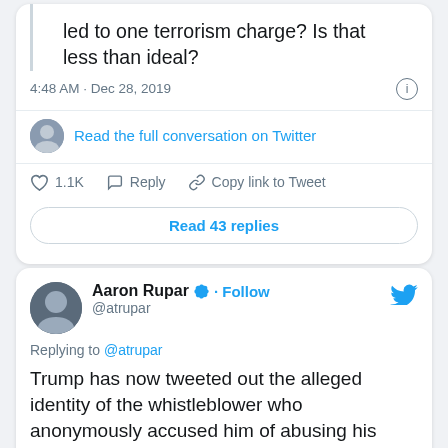[Figure (screenshot): Top Twitter/X tweet card showing partial tweet text 'led to one terrorism charge? Is that less than ideal?', timestamp '4:48 AM · Dec 28, 2019', info icon, avatar with 'Read the full conversation on Twitter' link, like count 1.1K, Reply and Copy link to Tweet actions, and 'Read 43 replies' button.]
[Figure (screenshot): Second Twitter/X tweet card showing Aaron Rupar (@atrupar) with verified badge and Follow button, Twitter bird icon, 'Replying to @atrupar' text, and tweet body: 'Trump has now tweeted out the alleged identity of the whistleblower who anonymously accused him of abusing his office in a complaint that has since been broadly corroborated. Federal law protects the']